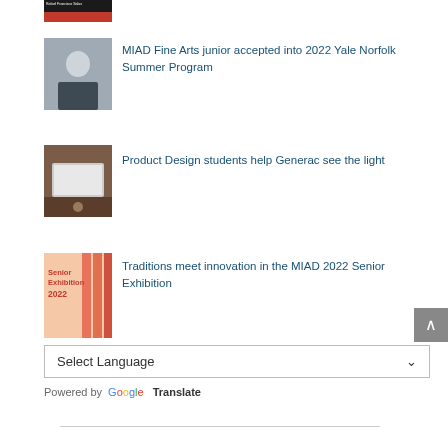[Figure (photo): Partial view of a book cover with dark top and red bottom, by Rafael Francisco Salas]
[Figure (photo): Portrait photo of a person with short light hair wearing a dark jacket]
MIAD Fine Arts junior accepted into 2022 Yale Norfolk Summer Program
[Figure (photo): Photo of a room with a display/projector setup]
Product Design students help Generac see the light
[Figure (illustration): Senior Exhibition 2022 poster with pink/red vertical bars]
Traditions meet innovation in the MIAD 2022 Senior Exhibition
Select Language
Powered by Google Translate